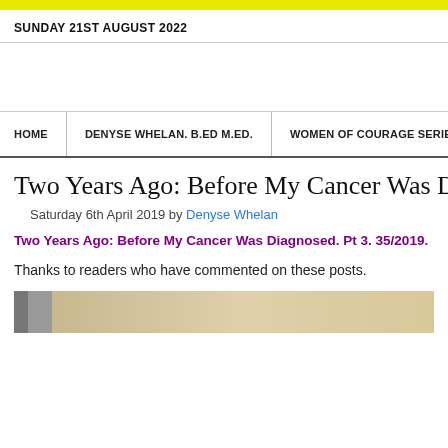SUNDAY 21ST AUGUST 2022
HOME | DENYSE WHELAN. B.ED M.ED. | WOMEN OF COURAGE SERIES.
Two Years Ago: Before My Cancer Was Diagnosed
Saturday 6th April 2019 by Denyse Whelan
Two Years Ago: Before My Cancer Was Diagnosed. Pt 3. 35/2019.
Thanks to readers who have commented on these posts.
[Figure (photo): Partial image of what appears to be a dog or animal, cropped at the bottom of the page]